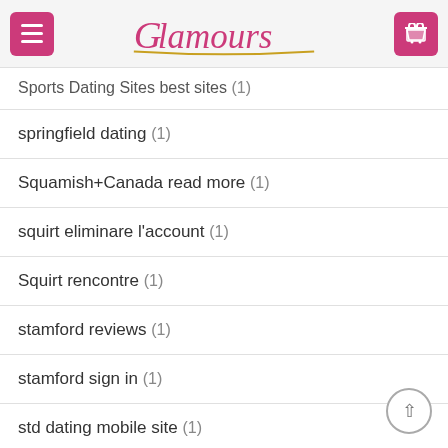Glamours
Sports Dating Sites best sites (1)
springfield dating (1)
Squamish+Canada read more (1)
squirt eliminare l'account (1)
Squirt rencontre (1)
stamford reviews (1)
stamford sign in (1)
std dating mobile site (1)
Stockton+NJ+New Jersey hookup sites (1)
straight dating review (1)